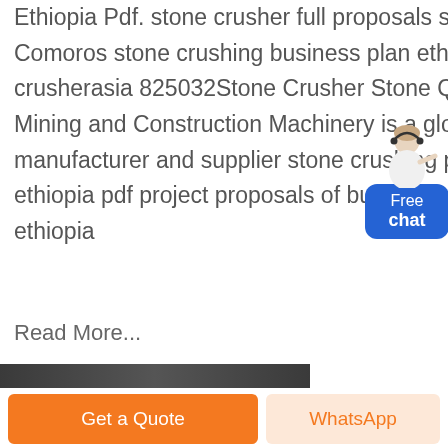Ethiopia Pdf. stone crusher full proposals supplier Comoros stone crushing business plan ethiopia crusherasia 825032Stone Crusher Stone Quarry Caiman Mining and Construction Machinery is a global manufacturer and supplier stone crushing plants in ethiopia pdf project proposals of business plan in ethiopia ethiopia
Read More...
[Figure (other): Chat widget with avatar figure and blue 'Free chat' button]
[Figure (photo): Partial bottom image strip showing dark/industrial scene]